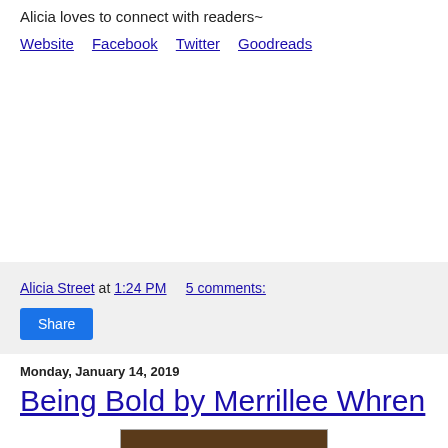Alicia loves to connect with readers~
Website   Facebook   Twitter   Goodreads
Alicia Street at 1:24 PM   5 comments:
Share
Monday, January 14, 2019
Being Bold by Merrillee Whren
[Figure (photo): Photo of a book or textile craft item with a dark background showing a red shape and small white dots/circles along the bottom edge]